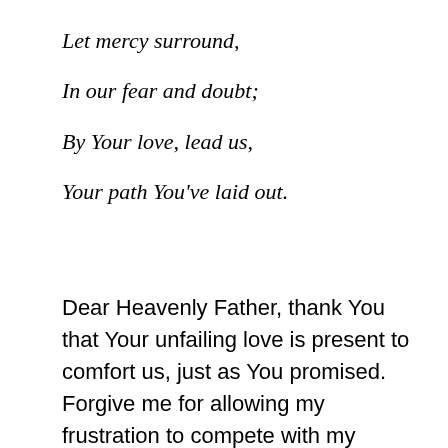Let mercy surround,
In our fear and doubt;
By Your love, lead us,
Your path You've laid out.
Dear Heavenly Father, thank You that Your unfailing love is present to comfort us, just as You promised. Forgive me for allowing my frustration to compete with my gratitude in the good that You do and how You make Your mercy known. Teach me to trust You more, so that I would lay hold of Your unfailing love and